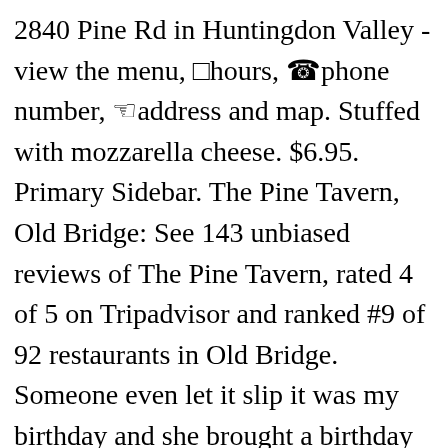2840 Pine Rd in Huntingdon Valley - view the menu, □hours, ☎phone number, ☜address and map. Stuffed with mozzarella cheese. $6.95. Primary Sidebar. The Pine Tavern, Old Bridge: See 143 unbiased reviews of The Pine Tavern, rated 4 of 5 on Tripadvisor and ranked #9 of 92 restaurants in Old Bridge. Someone even let it slip it was my birthday and she brought a birthday brownie out. The Pine Tavern, Floyd : consultez 168 avis sur The Pine Tavern, noté 4 sur 5 sur Tripadvisor et classé #6 sur 22 restaurants à Floyd. Sandwich and